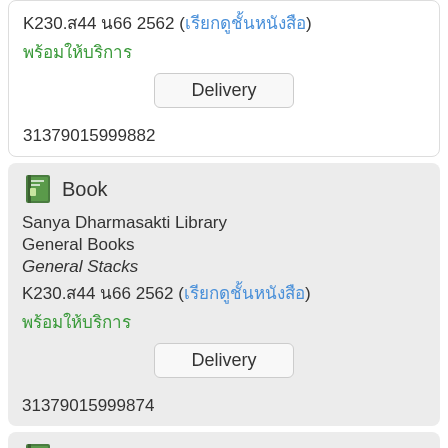K230.ส44 น66 2562 (เรียกดูชั้นหนังสือ)
พร้อมให้บริการ
Delivery
31379015999882
Book
Sanya Dharmasakti Library
General Books
General Stacks
K230.ส44 น66 2562 (เรียกดูชั้นหนังสือ)
พร้อมให้บริการ
Delivery
31379015999874
Book